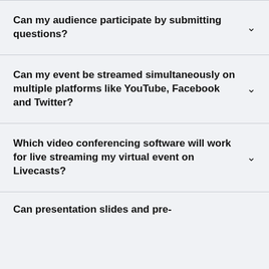Can my audience participate by submitting questions?
Can my event be streamed simultaneously on multiple platforms like YouTube, Facebook and Twitter?
Which video conferencing software will work for live streaming my virtual event on Livecasts?
Can presentation slides and pre-